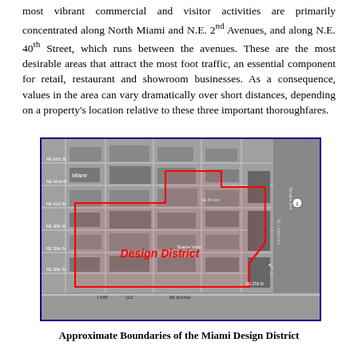most vibrant commercial and visitor activities are primarily concentrated along North Miami and N.E. 2nd Avenues, and along N.E. 40th Street, which runs between the avenues. These are the most desirable areas that attract the most foot traffic, an essential component for retail, restaurant and showroom businesses. As a consequence, values in the area can vary dramatically over short distances, depending on a property's location relative to these three important thoroughfares.
[Figure (map): Aerial satellite map showing the approximate boundaries of the Miami Design District, outlined in red. Streets visible include NE 43rd St, NE 42nd St, NE 41st St, NE 40th St, NE 39th St, NE 38th St, NE 37th St, and I-195/112 at the bottom. The label 'Design District' appears in red bold text in the center of the outlined area. The district boundary is an irregular polygon shown in red lines.]
Approximate Boundaries of the Miami Design District